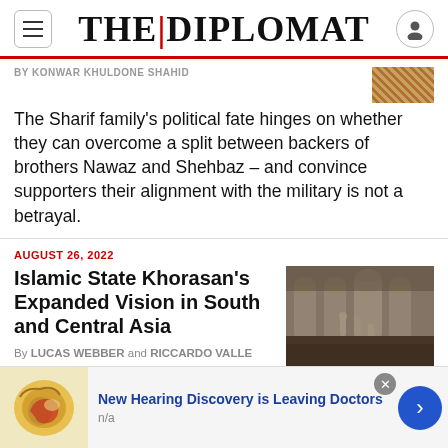THE DIPLOMAT
By KONWAR KHULDONE SHAHID
The Sharif family's political fate hinges on whether they can overcome a split between backers of brothers Nawaz and Shehbaz – and convince supporters their alignment with the military is not a betrayal.
AUGUST 26, 2022
Islamic State Khorasan's Expanded Vision in South and Central Asia
By LUCAS WEBBER and RICCARDO VALLE
The expansion of ISKP propaganda outreach,
New Hearing Discovery is Leaving Doctors
n/a